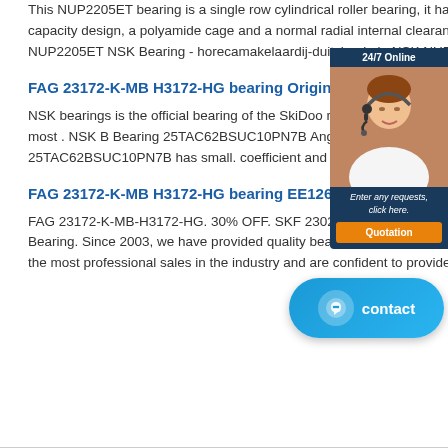This NUP2205ET bearing is a single row cylindrical roller bearing, it has 1 flange on the inner with a retaining ring, a high capacity design, a polyamide cage and a normal radial internal clearance. The bearing's dimensions are 25x52x18. NUP2205ET NSK Bearing - horecamakelaardij-duitsland.nl : NSK NUP2205ET bearing, bearing dimensions-25mm*25mm..
FAG 23172-K-MB H3172-HG bearing Original | NSK - 55TAC120B Bearing's
NSK bearings is the official bearing of the SkiDoo racing program. Widely tested in all forms of racing this bearing holds up to the most . NSK Ball Bearing 25TAC62BSUC10PN7B Angular Contact Ball . Japan original bearing 25TAC62BSUC10PN7B Ball Bearing 25TAC62BSUC10PN7B has small friction coefficient and excellent rotational and smaller radial gap
[Figure (photo): Customer service representative with headset, overlaid with a 24/7 Online panel showing a quotation button]
FAG 23172-K-MB H3172-HG bearing EE126097/126150 TIMKEN Bearing Quick quote Romania | BIGON
FAG 23172-K-MB-H3172-HG. 30% OFF. SKF 23026-2CS5/VT143. 30% OFF. SKF 7011CD/P4A. 30% OFF. About Bigon Bearing. Since 2003, we have provided quality bearings for more than 8,000 customers from all over the world. We now have the most professional sales in the industry and are confident to provide you with the best service. We now have the righ
[Figure (other): Blue contact chat widget button in bottom-right corner]